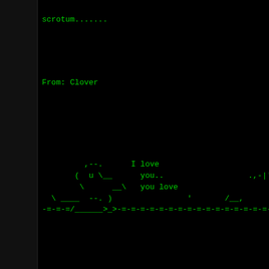scrotum.......
From: Clover
[Figure (other): ASCII art of a figure with text 'I love you.. you love' and decorative arrow line -=-=-=/______>_>-=-=-=-=-=-=-=-=-=-=-=-=-=-=-]
From: Josh Washburne